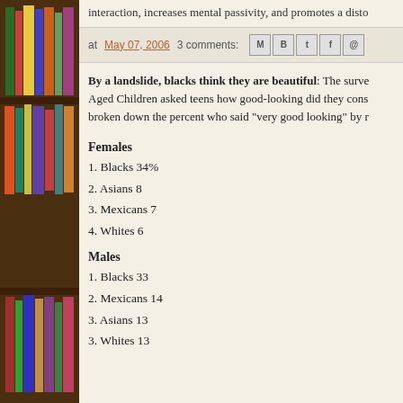interaction, increases mental passivity, and promotes a disto
at May 07, 2006   3 comments:
By a landslide, blacks think they are beautiful: The surve Aged Children asked teens how good-looking did they cons broken down the percent who said "very good looking" by r
Females
1. Blacks 34%
2. Asians 8
3. Mexicans 7
4. Whites 6
Males
1. Blacks 33
2. Mexicans 14
3. Asians 13
3. Whites 13